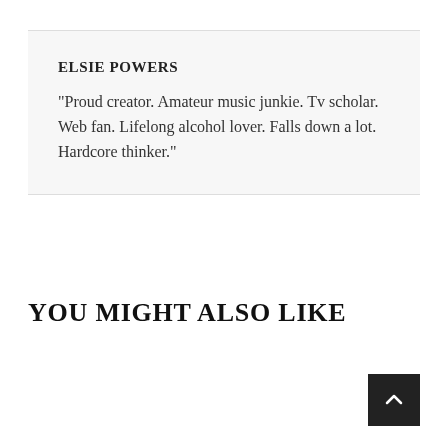ELSIE POWERS
"Proud creator. Amateur music junkie. Tv scholar. Web fan. Lifelong alcohol lover. Falls down a lot. Hardcore thinker."
YOU MIGHT ALSO LIKE